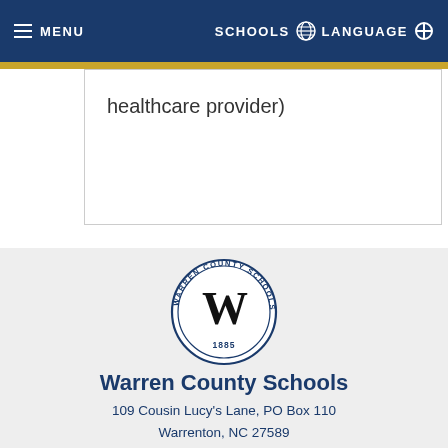MENU   SCHOOLS  LANGUAGE
healthcare provider)
[Figure (logo): Warren County Schools circular seal with 'W' in center, text 'WARREN COUNTY SCHOOLS, NC' around the border, and '1885' at the bottom]
Warren County Schools
109 Cousin Lucy's Lane, PO Box 110
Warrenton, NC 27589